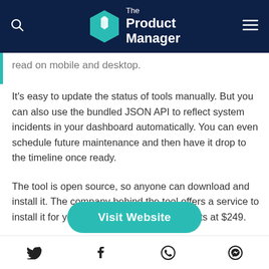The Product Manager
read on mobile and desktop.
It's easy to update the status of tools manually. But you can also use the bundled JSON API to reflect system incidents in your dashboard automatically. You can even schedule future maintenance and then have it drop to the timeline once ready.
The tool is open source, so anyone can download and install it. The company behind the tool offers a service to install it for you. Pricing for this service starts at $249.
[Figure (other): Visit Website button (teal rounded rectangle)]
Social share icons: Twitter, Facebook, WhatsApp, Messenger